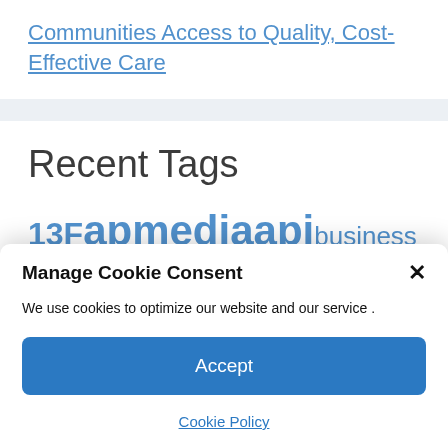Communities Access to Quality, Cost-Effective Care
Recent Tags
13F  apmediaapi  business  cable  CC  Company  comparison
Manage Cookie Consent
We use cookies to optimize our website and our service .
Accept
Cookie Policy